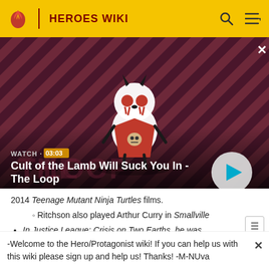HEROES WIKI
[Figure (screenshot): Video thumbnail for 'Cult of the Lamb Will Suck You In - The Loop' with a cartoon lamb character on a striped red/purple background. Shows WATCH • 03:03 label and a play button.]
2014 Teenage Mutant Ninja Turtles films.
Ritchson also played Arthur Curry in Smallville
In Justice League: Crisis on Two Earths, he was
-Welcome to the Hero/Protagonist wiki! If you can help us with this wiki please sign up and help us! Thanks! -M-NUva